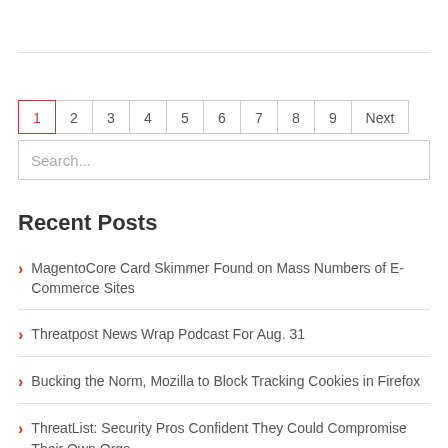[Figure (other): Horizontal rule / divider line at top of page]
Pagination: 1 (active), 2, 3, 4, 5, 6, 7, 8, 9, Next
Search...
Recent Posts
MagentoCore Card Skimmer Found on Mass Numbers of E-Commerce Sites
Threatpost News Wrap Podcast For Aug. 31
Bucking the Norm, Mozilla to Block Tracking Cookies in Firefox
ThreatList: Security Pros Confident They Could Compromise Their Own Orgs
New Threat Actor 'Rocke': A Rising Monero Cryptomining Menace